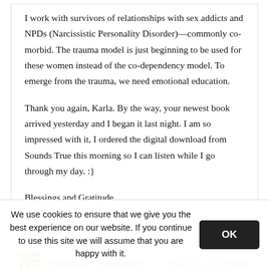I work with survivors of relationships with sex addicts and NPDs (Narcissistic Personality Disorder)—commonly co-morbid. The trauma model is just beginning to be used for these women instead of the co-dependency model. To emerge from the trauma, we need emotional education.

Thank you again, Karla. By the way, your newest book arrived yesterday and I began it last night. I am so impressed with it, I ordered the digital download from Sounds True this morning so I can listen while I go through my day. :}

Blessings and Gratitude,
Terre
Jednorozec Pokojowiec  August 12, 2010 | Reply
We use cookies to ensure that we give you the best experience on our website. If you continue to use this site we will assume that you are happy with it.